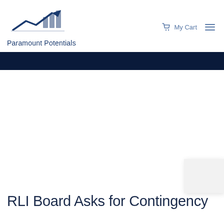[Figure (logo): Paramount Potentials logo with upward trend arrow and bar chart icon in navy and grey]
My Cart  ≡
RLI Board Asks for Contingency